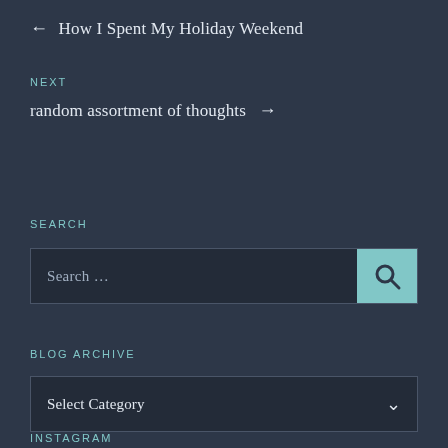← How I Spent My Holiday Weekend
NEXT
random assortment of thoughts →
SEARCH
[Figure (screenshot): Search input box with teal search button containing a magnifying glass icon]
BLOG ARCHIVE
[Figure (screenshot): Select Category dropdown widget]
INSTAGRAM